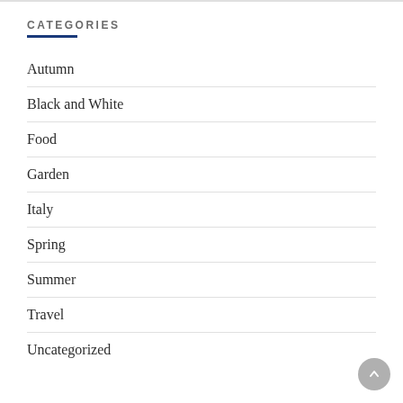CATEGORIES
Autumn
Black and White
Food
Garden
Italy
Spring
Summer
Travel
Uncategorized